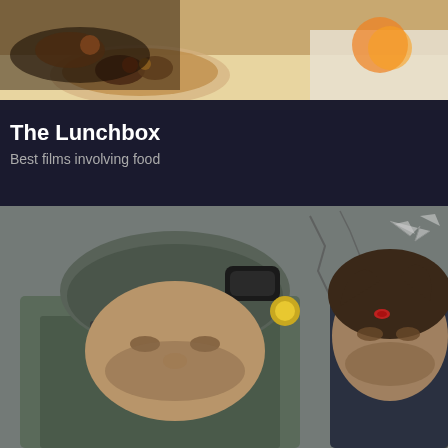[Figure (photo): Top portion of a food-laden dining table with plates of food and a white tablecloth, cropped at the top of the page]
The Lunchbox
Best films involving food
[Figure (photo): Movie still showing three men — two wearing military helmets and tactical gear, and one disheveled man with a wound on his forehead — against a grey deteriorating wall background]